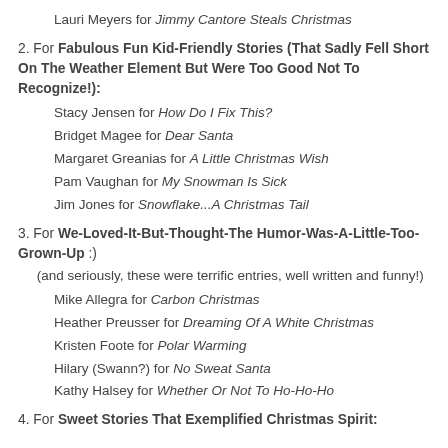Lauri Meyers for Jimmy Cantore Steals Christmas
2. For Fabulous Fun Kid-Friendly Stories (That Sadly Fell Short On The Weather Element But Were Too Good Not To Recognize!):
Stacy Jensen for How Do I Fix This?
Bridget Magee for Dear Santa
Margaret Greanias for A Little Christmas Wish
Pam Vaughan for My Snowman Is Sick
Jim Jones for Snowflake...A Christmas Tail
3. For We-Loved-It-But-Thought-The Humor-Was-A-Little-Too-Grown-Up :)
(and seriously, these were terrific entries, well written and funny!)
Mike Allegra for Carbon Christmas
Heather Preusser for Dreaming Of A White Christmas
Kristen Foote for Polar Warming
Hilary (Swann?) for No Sweat Santa
Kathy Halsey for Whether Or Not To Ho-Ho-Ho
4. For Sweet Stories That Exemplified Christmas Spirit: